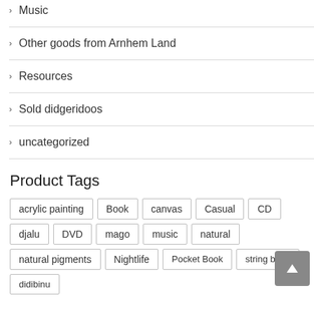Music
Other goods from Arnhem Land
Resources
Sold didgeridoos
uncategorized
Product Tags
acrylic painting  Book  canvas  Casual  CD  djalu  DVD  mago  music  natural  natural pigments  Nightlife  Pocket Book  string bags  didibinu